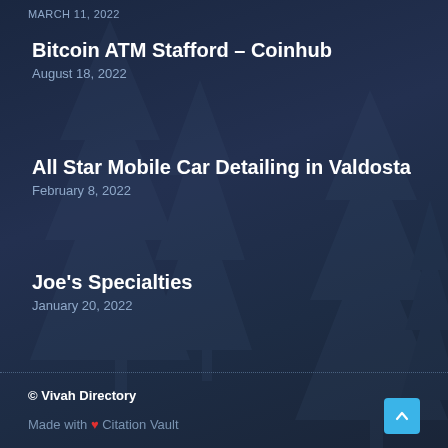MARCH 11, 2022
Bitcoin ATM Stafford – Coinhub
August 18, 2022
All Star Mobile Car Detailing in Valdosta
February 8, 2022
Joe's Specialties
January 20, 2022
© Vivah Directory
Made with ❤ Citation Vault